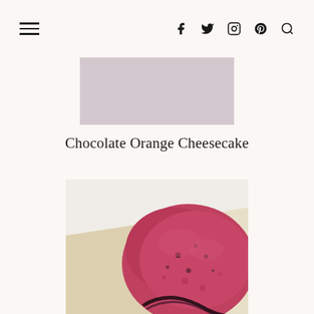Navigation bar with hamburger menu and social icons: facebook, twitter, instagram, pinterest, search
[Figure (other): Gray rectangular advertisement placeholder banner]
Chocolate Orange Cheesecake
[Figure (photo): Close-up photo of a slice of deep red/pink chocolate orange cheesecake with a dark chocolate ganache layer, resting on parchment paper against a white background]